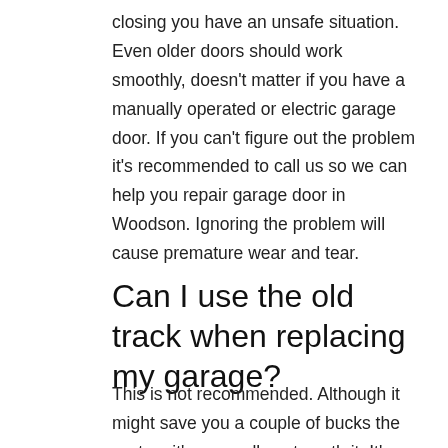closing you have an unsafe situation. Even older doors should work smoothly, doesn't matter if you have a manually operated or electric garage door. If you can't figure out the problem it's recommended to call us so we can help you repair garage door in Woodson. Ignoring the problem will cause premature wear and tear.
Can I use the old track when replacing my garage?
This is not recommended. Although it might save you a couple of bucks the system it's generally not worth it. It's better to use the track that is